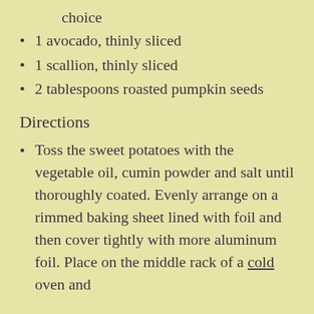choice
1 avocado, thinly sliced
1 scallion, thinly sliced
2 tablespoons roasted pumpkin seeds
Directions
Toss the sweet potatoes with the vegetable oil, cumin powder and salt until thoroughly coated. Evenly arrange on a rimmed baking sheet lined with foil and then cover tightly with more aluminum foil. Place on the middle rack of a cold oven and